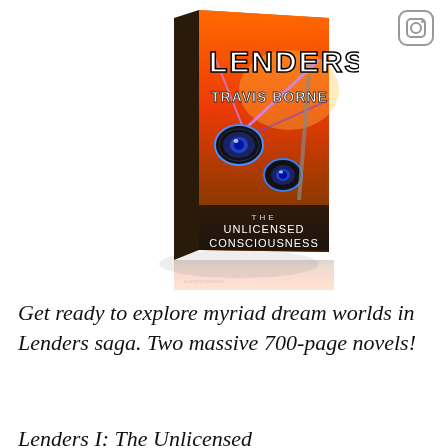[Figure (photo): Book cover for 'Lenders: The Unlicensed Consciousness' by Travis Borne, showing a sci-fi themed cover with glowing robotic eyes, explosion and laser beams, displayed as a 3D book standing upright with a reflection below.]
Get ready to explore myriad dream worlds in Lenders saga. Two massive 700-page novels!
Lenders I: The Unlicensed